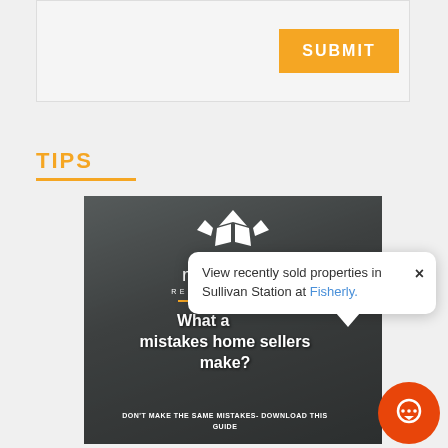[Figure (screenshot): Form area with SUBMIT button on light gray background]
TIPS
[Figure (infographic): Residencity Real Estate Team branded image card with text 'What are the mistakes home sellers make?' and subtitle 'DON'T MAKE THE SAME MISTAKES- DOWNLOAD THIS GUIDE']
View recently sold properties in Sullivan Station at Fisherly.